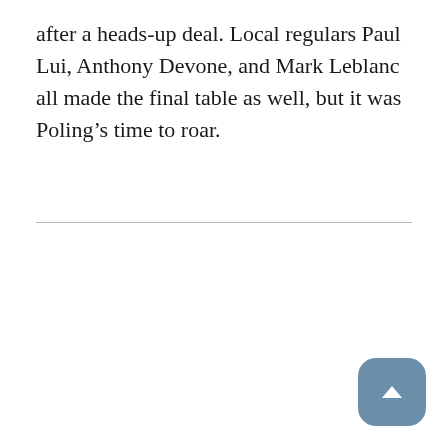after a heads-up deal. Local regulars Paul Lui, Anthony Devone, and Mark Leblanc all made the final table as well, but it was Poling’s time to roar.